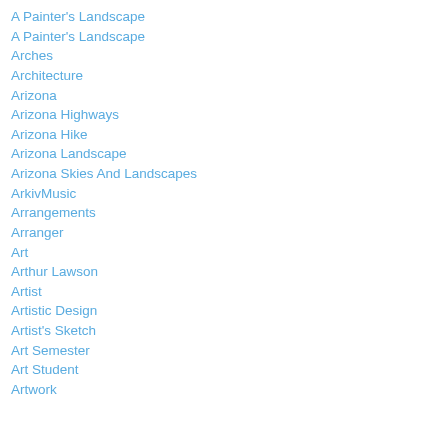A Painter's Landscape
A Painter's Landscape
Arches
Architecture
Arizona
Arizona Highways
Arizona Hike
Arizona Landscape
Arizona Skies And Landscapes
ArkivMusic
Arrangements
Arranger
Art
Arthur Lawson
Artist
Artistic Design
Artist's Sketch
Art Semester
Art Student
Artwork